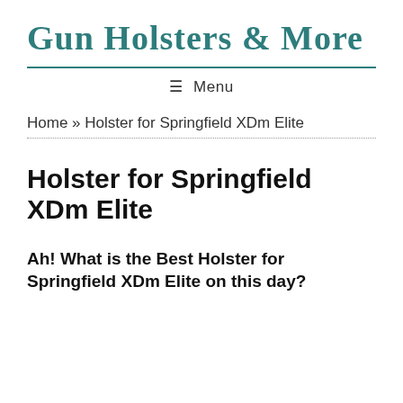Gun Holsters & More
≡  Menu
Home » Holster for Springfield XDm Elite
Holster for Springfield XDm Elite
Ah! What is the Best Holster for Springfield XDm Elite on this day?